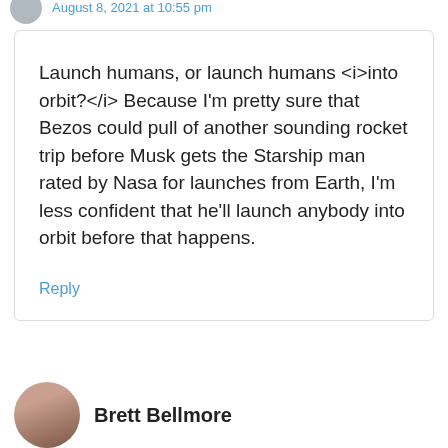August 8, 2021 at 10:55 pm
Launch humans, or launch humans <i>into orbit?</i> Because I'm pretty sure that Bezos could pull of another sounding rocket trip before Musk gets the Starship man rated by Nasa for launches from Earth, I'm less confident that he'll launch anybody into orbit before that happens.
Reply
Brett Bellmore